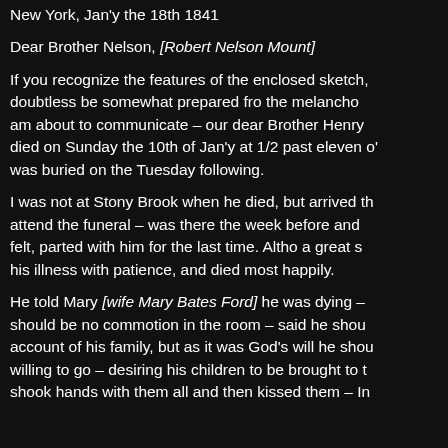New York, Jan'y the 18th 1841
Dear Brother Nelson, [Robert Nelson Mount]
If you recognize the features of the enclosed sketch, doubtless be somewhat prepared fro the melancho am about to communicate – our dear Brother Henry died on Sunday the 10th of Jan'y at 1/2 past eleven o' was buried on the Tuesday following.
I was not at Stony Brook when he died, but arrived th attend the funeral – was there the week before and felt, parted with him for the last time. Altho a great s his illness with patience, and died most happily.
He told Mary [wife Mary Bates Ford] he was dying – should be no commotion in the room – said he shou account of his family, but as it was God's will he shou willing to go – desiring his children to be brought to t shook hands with them all and then kissed them – In